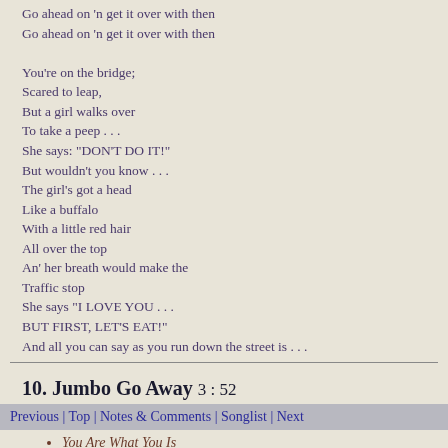Go ahead on 'n get it over with then
Go ahead on 'n get it over with then

You're on the bridge;
Scared to leap,
But a girl walks over
To take a peep . . .
She says: "DON'T DO IT!"
But wouldn't you know . . .
The girl's got a head
Like a buffalo
With a little red hair
All over the top
An' her breath would make the
Traffic stop
She says "I LOVE YOU . . .
BUT FIRST, LET'S EAT!"
And all you can say as you run down the street is . . .
10. Jumbo Go Away 3:52
Previous | Top | Notes & Comments | Songlist | Next
You Are What You Is